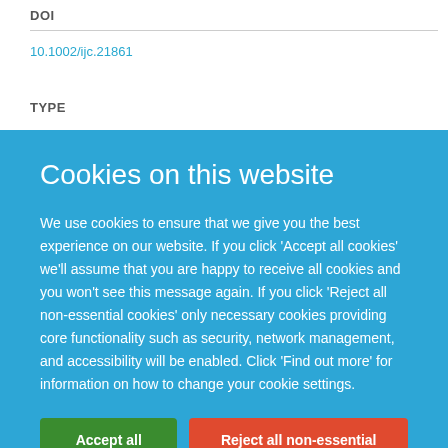DOI
10.1002/ijc.21861
TYPE
Cookies on this website
We use cookies to ensure that we give you the best experience on our website. If you click 'Accept all cookies' we'll assume that you are happy to receive all cookies and you won't see this message again. If you click 'Reject all non-essential cookies' only necessary cookies providing core functionality such as security, network management, and accessibility will be enabled. Click 'Find out more' for information on how to change your cookie settings.
Accept all cookies
Reject all non-essential cookies